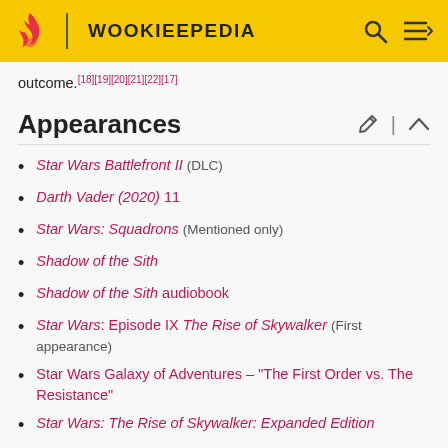WOOKIEEPEDIA
outcome.[18][19][20][21][22][17]
Appearances
Star Wars Battlefront II (DLC)
Darth Vader (2020) 11
Star Wars: Squadrons (Mentioned only)
Shadow of the Sith
Shadow of the Sith audiobook
Star Wars: Episode IX The Rise of Skywalker (First appearance)
Star Wars Galaxy of Adventures – "The First Order vs. The Resistance"
Star Wars: The Rise of Skywalker: Expanded Edition